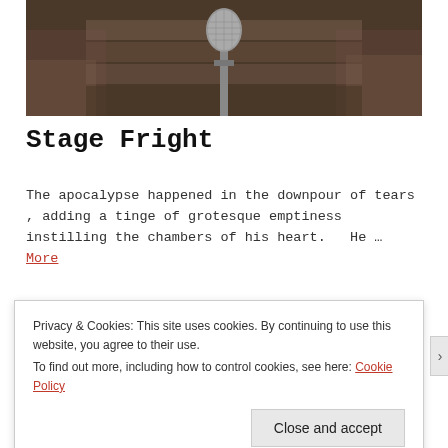[Figure (photo): A blurred photo of a microphone on a stand in the foreground, with an audience blurred in the background. Dark, moody lighting.]
Stage Fright
The apocalypse happened in the downpour of tears , adding a tinge of grotesque emptiness instilling the chambers of his heart.   He … More
Privacy & Cookies: This site uses cookies. By continuing to use this website, you agree to their use.
To find out more, including how to control cookies, see here: Cookie Policy
Close and accept